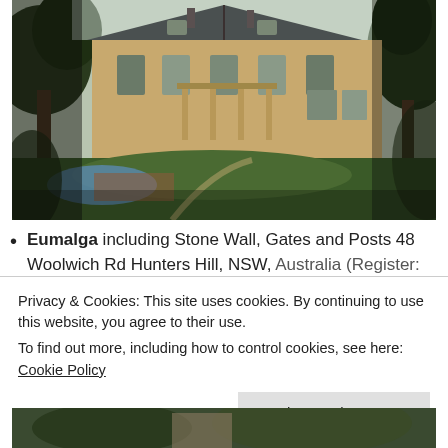[Figure (photo): Aerial/elevated view of a large sandstone heritage mansion (Eumalga) with a slate roof, surrounded by trees, with a swimming pool and tennis court visible in the foreground grounds.]
Eumalga including Stone Wall, Gates and Posts 48 Woolwich Rd Hunters Hill, NSW, Australia (Register: with Register of the...
Privacy & Cookies: This site uses cookies. By continuing to use this website, you agree to their use.
To find out more, including how to control cookies, see here: Cookie Policy
[Figure (photo): Partially visible photo at the bottom of the page, appears to show trees or a heritage building.]